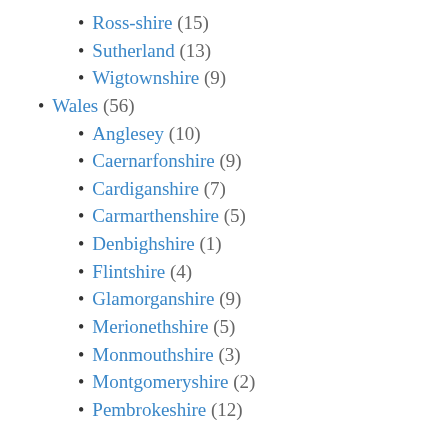Ross-shire (15)
Sutherland (13)
Wigtownshire (9)
Wales (56)
Anglesey (10)
Caernarfonshire (9)
Cardiganshire (7)
Carmarthenshire (5)
Denbighshire (1)
Flintshire (4)
Glamorganshire (9)
Merionethshire (5)
Monmouthshire (3)
Montgomeryshire (2)
Pembrokeshire (12)